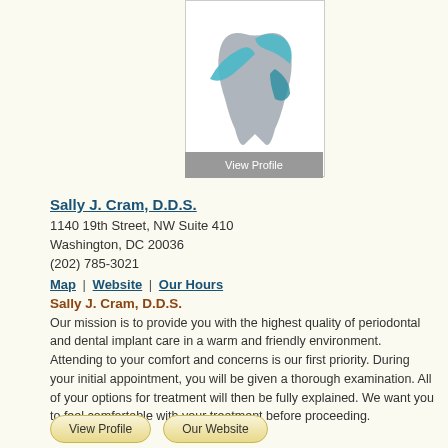[Figure (logo): Dental practice logo with stylized tooth and blue swoosh design]
Sally J. Cram, D.D.S.
1140 19th Street, NW Suite 410
Washington, DC 20036
(202) 785-3021
Map | Website | Our Hours
Sally J. Cram, D.D.S.
Our mission is to provide you with the highest quality of periodontal and dental implant care in a warm and friendly environment. Attending to your comfort and concerns is our first priority. During your initial appointment, you will be given a thorough examination. All of your options for treatment will then be fully explained. We want you to feel comfortable with your treatment before proceeding.
View Profile | Our Website